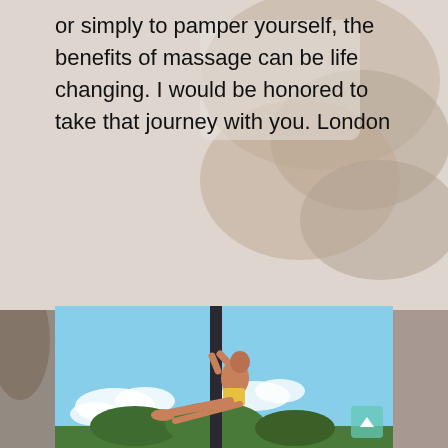or simply to pamper yourself, the benefits of massage can be life changing. I would be honored to take that journey with you. London
[Figure (photo): A person performing pole fitness/climbing outdoors on a tall dark pole against a blue sky with white clouds and green trees below. The person is mid-climb with legs extended horizontally, wearing yellow shorts.]